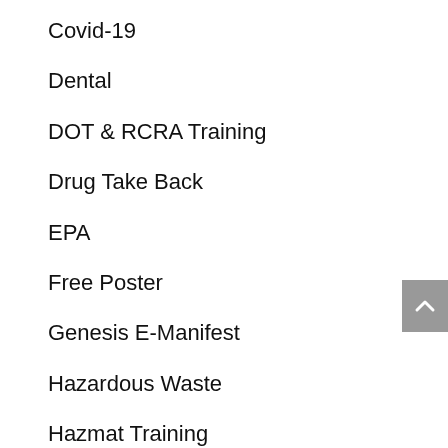Covid-19
Dental
DOT & RCRA Training
Drug Take Back
EPA
Free Poster
Genesis E-Manifest
Hazardous Waste
Hazmat Training